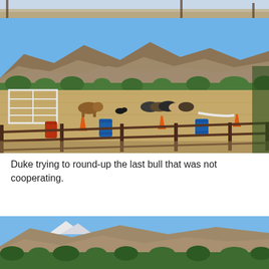[Figure (photo): Top portion of a photo showing a ranch or farm setting with fencing, partially cropped]
[Figure (photo): Photo of a ranch corral with cattle being rounded up by a dog named Duke. Brown metal fence panels in the foreground, blue and orange barrels and orange traffic cones marking a course, several cattle (brown, black, white) in a dry dirt field, white wooden fence panels on the left, and large dry brown mountains in the background under a blue sky with green trees along the base of the mountains.]
Duke trying to round-up the last bull that was not cooperating.
[Figure (photo): Bottom portion of a mountainous landscape photo showing large brown dry mountains under a blue sky with green trees at the base, partially cropped at the bottom of the page.]